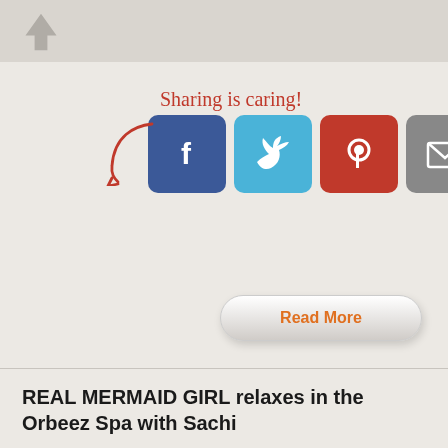[Figure (screenshot): Top navigation bar with an up arrow icon on a light gray background]
Sharing is caring!
[Figure (infographic): Social sharing buttons: Facebook (blue), Twitter (light blue), Pinterest (red), Email (gray), More (green), with a red curly arrow pointing to them and the text 'Sharing is caring!' above]
Read More
REAL MERMAID GIRL relaxes in the Orbeez Spa with Sachi